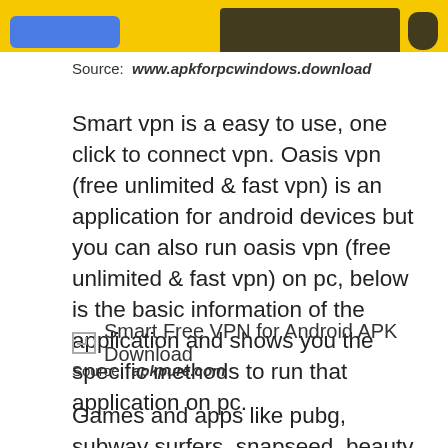[Figure (illustration): Top banner image with yellow background, blue button, keyboard and mouse graphics]
Source: www.apkforpcwindows.download
Smart vpn is a easy to use, one click to connect vpn. Oasis vpn (free unlimited & fast vpn) is an application for android devices but you can also run oasis vpn (free unlimited & fast vpn) on pc, below is the basic information of the application and shows you the specific methods to run that application on pc.
[Figure (illustration): Broken image placeholder labeled: Smart Free VPN for Android APK Download]
Source: apkpure.com
Games and apps like pubg, subway surfers, snapseed, beauty plus, etc. Shuttle vpn